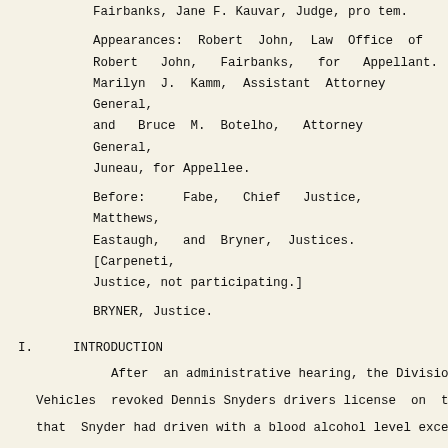Fairbanks, Jane F. Kauvar, Judge, pro tem.
Appearances: Robert John, Law Office of Robert John, Fairbanks, for Appellant. Marilyn J. Kamm, Assistant Attorney General, and Bruce M. Botelho, Attorney General, Juneau, for Appellee.
Before: Fabe, Chief Justice, Matthews, Eastaugh, and Bryner, Justices. [Carpeneti, Justice, not participating.]
BRYNER, Justice.
I.  INTRODUCTION
After an administrative hearing, the Division Vehicles revoked Dennis Snyders drivers license on the that Snyder had driven with a blood alcohol level exceed legal limit. Snyder appealed to the superior court remanded for reconsideration because the divisions officer had misapplied the applicable burden of pro remand, a different hearing officer reviewed the rec